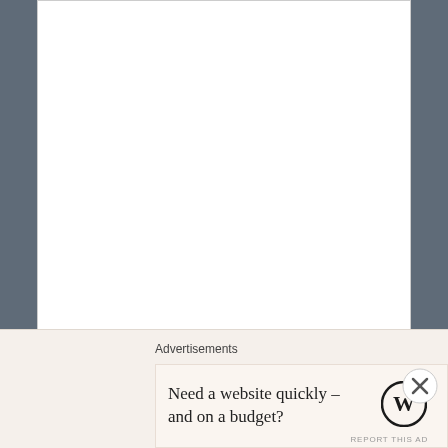[Figure (screenshot): Large text area input box, empty, with resize handle at bottom right]
Name *
[Figure (screenshot): Single-line text input box for name, empty]
Advertisements
Need a website quickly – and on a budget?
[Figure (logo): WordPress logo (W in circle)]